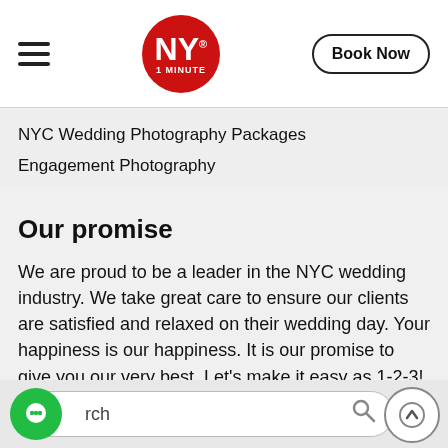NY 1 MINUTE | Book Now
NYC Wedding Photography Packages
Engagement Photography
Our promise
We are proud to be a leader in the NYC wedding industry. We take great care to ensure our clients are satisfied and relaxed on their wedding day. Your happiness is our happiness. It is our promise to give you our very best. Let's make it easy as 1-2-3!
[Figure (screenshot): Search bar with chat bubble icon on left and search/scroll-to-top icons on right]